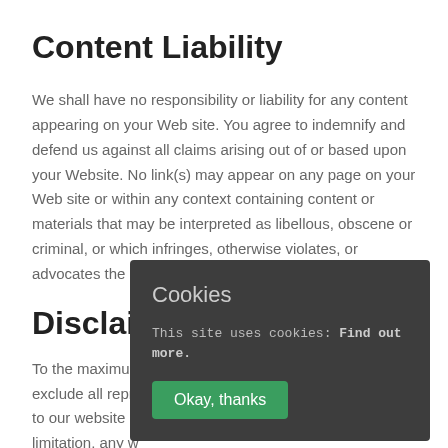Content Liability
We shall have no responsibility or liability for any content appearing on your Web site. You agree to indemnify and defend us against all claims arising out of or based upon your Website. No link(s) may appear on any page on your Web site or within any context containing content or materials that may be interpreted as libellous, obscene or criminal, or which infringes, otherwise violates, or advocates the infringement or other violation of…
Disclaimer
To the maximum… exclude all repre… to our website a… limitation, any w… satisfactory quality, fitness for purpose and/or the use of
[Figure (screenshot): Cookie consent popup overlay with dark grey background. Title: 'Cookies'. Text: 'This site uses cookies: Find out more.' Button: 'Okay, thanks' with green background.]